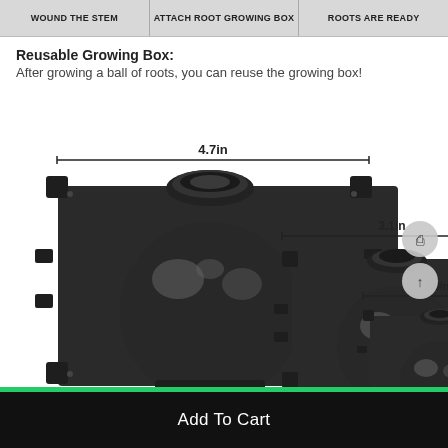[Figure (photo): Three step process bar at top: WOUND THE STEM, ATTACH ROOT GROWING BOX, ROOTS ARE READY]
Reusable Growing Box:
After growing a ball of roots, you can reuse the growing box!
[Figure (photo): Three sizes of root growing boxes shown side by side with dimension annotations: large 4.7in, medium 3.1in, small 2.0in]
Add To Cart